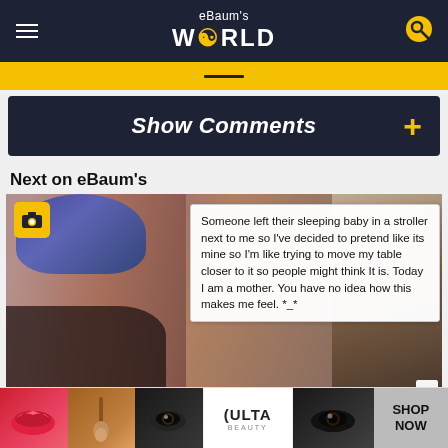eBaum's WORLD
Show Comments
Next on eBaum's
[Figure (photo): Screenshot of an eBaum's World webpage showing a person with blue/purple hair and a nose ring, with a text overlay reading: 'Someone left their sleeping baby in a stroller next to me so I've decided to pretend like its mine so I'm like trying to move my table closer to it so people might think It is. Today I am a mother. You have no idea how this makes me feel. *_*']
[Figure (photo): Advertisement banner for ULTA Beauty with makeup imagery and 'SHOP NOW' call to action]